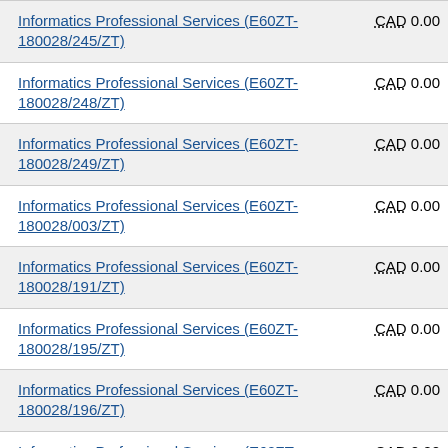| Contract/Name | Value |
| --- | --- |
| Informatics Professional Services (E60ZT-180028/245/ZT) | CAD 0.00 |
| Informatics Professional Services (E60ZT-180028/248/ZT) | CAD 0.00 |
| Informatics Professional Services (E60ZT-180028/249/ZT) | CAD 0.00 |
| Informatics Professional Services (E60ZT-180028/003/ZT) | CAD 0.00 |
| Informatics Professional Services (E60ZT-180028/191/ZT) | CAD 0.00 |
| Informatics Professional Services (E60ZT-180028/195/ZT) | CAD 0.00 |
| Informatics Professional Services (E60ZT-180028/196/ZT) | CAD 0.00 |
| Informatics Professional Services (E60ZT-180028/197/ZT) | CAD 0.00 |
| Informatics Professional Services (E60ZT-180028/198/ZT) | CAD 0.00 |
| Informatics Professional Services (E60ZT-... | CAD 0.00 |